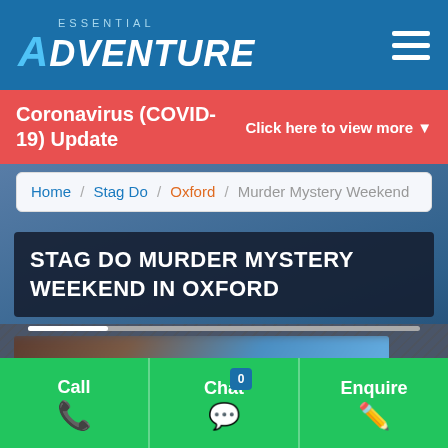ESSENTIAL ADVENTURE
Coronavirus (COVID-19) Update — Click here to view more
Home / Stag Do / Oxford / Murder Mystery Weekend
STAG DO MURDER MYSTERY WEEKEND IN OXFORD
[Figure (photo): Blurred product/activity image for murder mystery weekend]
Call | Chat 0 | Enquire